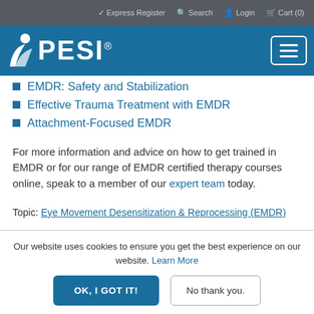✓ Express Register  Q Search  Login  Cart (0)
[Figure (logo): PESI logo with figure icon on blue background with hamburger menu button]
EMDR: Safety and Stabilization
Effective Trauma Treatment with EMDR
Attachment-Focused EMDR
For more information and advice on how to get trained in EMDR or for our range of EMDR certified therapy courses online, speak to a member of our expert team today.
Topic: Eye Movement Desensitization & Reprocessing (EMDR)
Our website uses cookies to ensure you get the best experience on our website. Learn More
OK, I GOT IT!  No thank you.